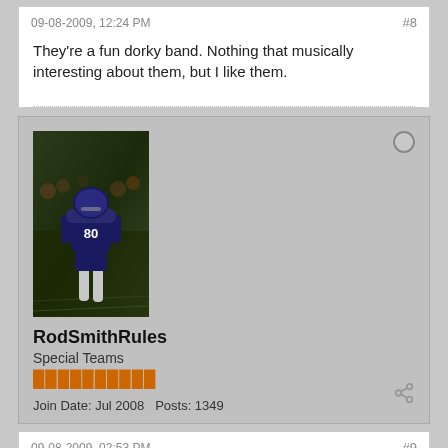09-08-2009, 12:24 PM
#8
They're a fun dorky band. Nothing that musically interesting about them, but I like them.
[Figure (photo): User avatar showing a football player wearing jersey #80 on a field at night]
RodSmithRules
Special Teams
Join Date: Jul 2008   Posts: 1349
09-08-2009, 02:53 PM
#9
Originally posted by CoryWinget81 Beverly Hills